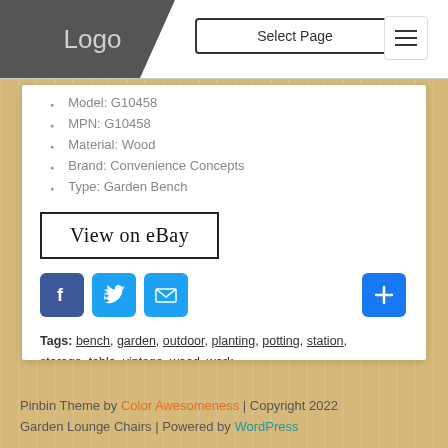Logo | Select Page
Model: G10458
MPN: G10458
Material: Wood
Brand: Convenience Concepts
Type: Garden Bench
View on eBay
[Figure (infographic): Social sharing buttons: Facebook, Twitter, Email, and a plus/more button]
Tags: bench, garden, outdoor, planting, potting, station, storage, table, vintage, wood, work
Pinbin Theme by Color Awesomeness | Copyright 2022 Garden Lounge Chairs | Powered by WordPress